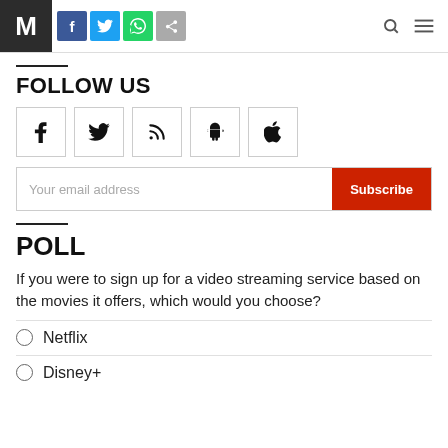M | Social media header with Facebook, Twitter, WhatsApp, Share icons
FOLLOW US
[Figure (other): Row of five social media icon boxes: Facebook, Twitter, RSS feed, Android, Apple]
Your email address | Subscribe
POLL
If you were to sign up for a video streaming service based on the movies it offers, which would you choose?
Netflix
Disney+